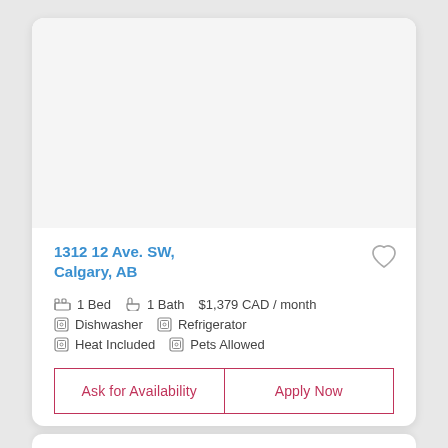[Figure (photo): Property listing photo area (blank/white image placeholder)]
1312 12 Ave. SW,
Calgary, AB
1 Bed  1 Bath  $1,379 CAD / month
Dishwasher  Refrigerator
Heat Included  Pets Allowed
Ask for Availability
Apply Now